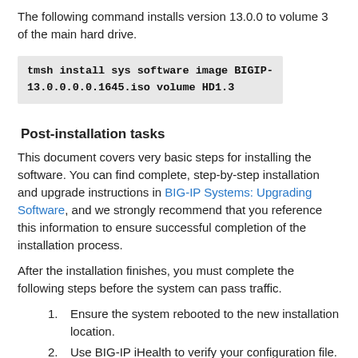The following command installs version 13.0.0 to volume 3 of the main hard drive.
tmsh install sys software image BIGIP-13.0.0.0.0.1645.iso volume HD1.3
Post-installation tasks
This document covers very basic steps for installing the software. You can find complete, step-by-step installation and upgrade instructions in BIG-IP Systems: Upgrading Software, and we strongly recommend that you reference this information to ensure successful completion of the installation process.
After the installation finishes, you must complete the following steps before the system can pass traffic.
Ensure the system rebooted to the new installation location.
Use BIG-IP iHealth to verify your configuration file. For